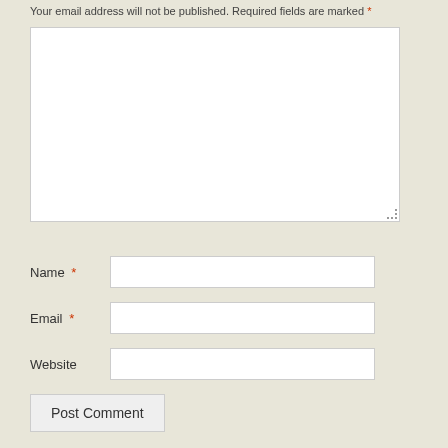Your email address will not be published. Required fields are marked *
[Figure (other): Comment text area input field (empty, white background with resize handle)]
Name *
[Figure (other): Name text input field]
Email *
[Figure (other): Email text input field]
Website
[Figure (other): Website text input field]
Post Comment
Notify me of new comments via email.